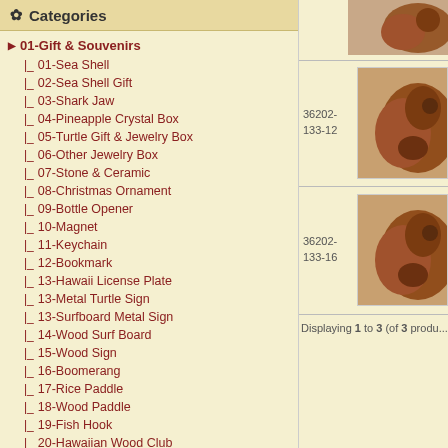Categories
01-Gift & Souvenirs
01-Sea Shell
02-Sea Shell Gift
03-Shark Jaw
04-Pineapple Crystal Box
05-Turtle Gift & Jewelry Box
06-Other Jewelry Box
07-Stone & Ceramic
08-Christmas Ornament
09-Bottle Opener
10-Magnet
11-Keychain
12-Bookmark
13-Hawaii License Plate
13-Metal Turtle Sign
13-Surfboard Metal Sign
14-Wood Surf Board
15-Wood Sign
16-Boomerang
17-Rice Paddle
18-Wood Paddle
19-Fish Hook
20-Hawaiian Wood Club
21-Wood Carving
[Figure (photo): Product photo top - carved wooden turtle figure, item 36202-133-12]
[Figure (photo): Product photo middle - carved wooden turtle figure, item 36202-133-12]
[Figure (photo): Product photo bottom - carved wooden turtle figure, item 36202-133-16]
Displaying 1 to 3 (of 3 products)